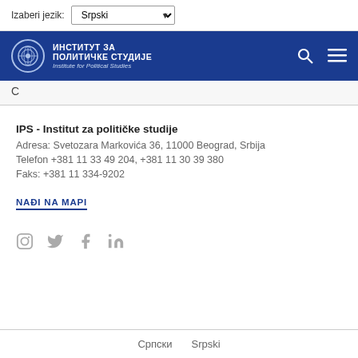Izaberi jezik: Srpski
[Figure (logo): Institute for Political Studies logo – blue navigation bar with white Cyrillic text ИНСТИТУТ ЗА ПОЛИТИЧКЕ СТУДИЈЕ and English subtitle Institute for Political Studies, with circular emblem, search icon, and menu icon]
С (search bar partial letter)
IPS - Institut za političke studije
Adresa: Svetozara Markovića 36, 11000 Beograd, Srbija
Telefon +381 11 33 49 204, +381 11 30 39 380
Faks: +381 11 334-9202
NAĐI NA MAPI
[Figure (infographic): Social media icons: Instagram, Twitter, Facebook, LinkedIn in grey]
Српски   Srpski